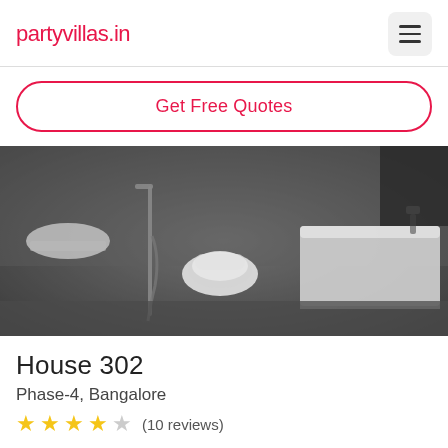partyvillas.in
Get Free Quotes
[Figure (photo): Bathroom interior in dark grey tones showing a wall-hung toilet, bathtub, sink, and shower fixtures against textured dark walls]
House 302
Phase-4, Bangalore
★★★★ (10 reviews)